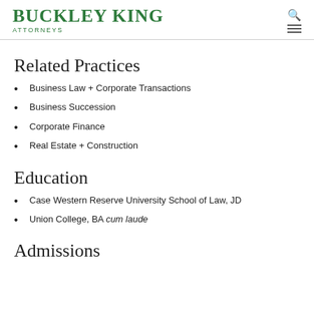BUCKLEY KING ATTORNEYS
Related Practices
Business Law + Corporate Transactions
Business Succession
Corporate Finance
Real Estate + Construction
Education
Case Western Reserve University School of Law, JD
Union College, BA cum laude
Admissions